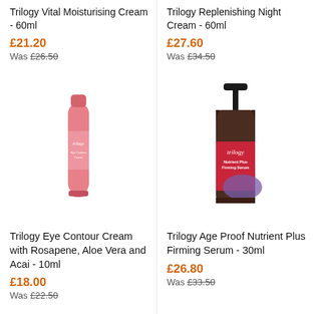Trilogy Vital Moisturising Cream - 60ml
£21.20
Was £26.50
Trilogy Replenishing Night Cream - 60ml
£27.60
Was £34.50
[Figure (photo): Pink tube of Trilogy Eye Contour Cream]
[Figure (photo): Dark glass bottle with pump of Trilogy Age Proof Nutrient Plus Firming Serum with red and purple label]
Trilogy Eye Contour Cream with Rosapene, Aloe Vera and Acai - 10ml
£18.00
Was £22.50
Trilogy Age Proof Nutrient Plus Firming Serum - 30ml
£26.80
Was £33.50